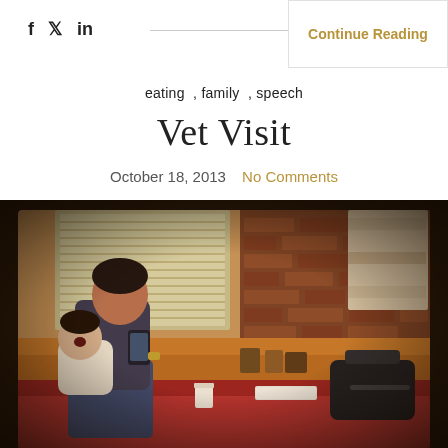f  𝕏  in  |  Continue Reading
eating , family , speech
Vet Visit
October 18, 2013   No Comments
[Figure (photo): A man sitting on a red leather booth bench looking at his phone while holding a baby/toddler on his lap. Behind them is a brick wall and a window with venetian blinds. A black bag and a book are on the bench beside them, along with a cup on the table.]